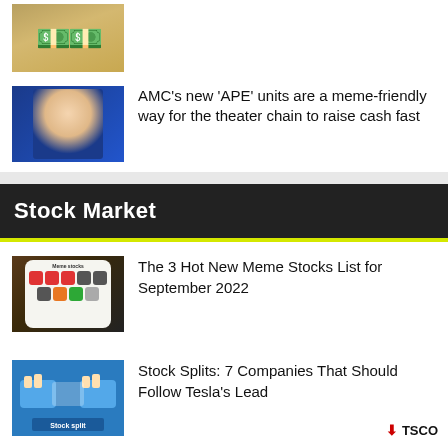[Figure (photo): Top partial thumbnail of money/dollar bills, partially cropped]
[Figure (photo): Photo of AMC executive/person in blue backdrop]
AMC’s new ‘APE’ units are a meme-friendly way for the theater chain to raise cash fast
Stock Market
[Figure (photo): Smartphone screen showing meme stocks app icons]
The 3 Hot New Meme Stocks List for September 2022
[Figure (photo): Stock split illustration with blue background showing hands holding puzzle pieces labeled Stock split]
Stock Splits: 7 Companies That Should Follow Tesla’s Lead
⬇ TSCO